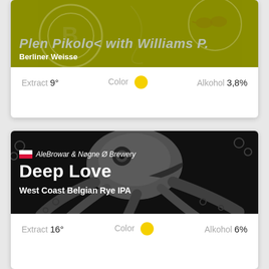[Figure (illustration): Beer card 1: olive/yellow-green background with illustrated art, showing a partial title, Berliner Weisse style]
Berliner Weisse
Extract 9°   Color ●   Alkohol 3,8%
[Figure (illustration): Beer card 2: black background with octopus illustration, AleBrowar & Nøgne Ø Brewery, Deep Love, West Coast Belgian Rye IPA]
AleBrowar & Nøgne Ø Brewery
Deep Love
West Coast Belgian Rye IPA
Extract 16°   Color ●   Alkohol 6%